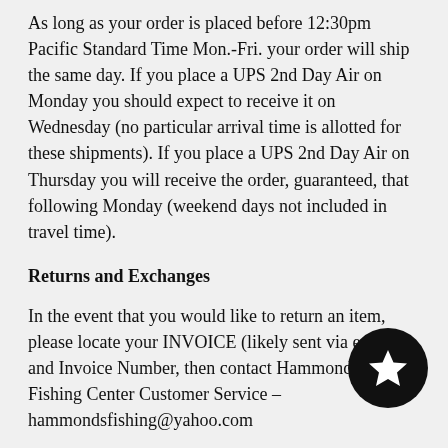As long as your order is placed before 12:30pm Pacific Standard Time Mon.-Fri. your order will ship the same day. If you place a UPS 2nd Day Air on Monday you should expect to receive it on Wednesday (no particular arrival time is allotted for these shipments). If you place a UPS 2nd Day Air on Thursday you will receive the order, guaranteed, that following Monday (weekend days not included in travel time).
Returns and Exchanges
In the event that you would like to return an item, please locate your INVOICE (likely sent via email) and Invoice Number, then contact Hammond's Fishing Center Customer Service – hammondsfishing@yahoo.com
Or, submit a return request through our Return P
A representative will be happy to help your Monday through Saturday...